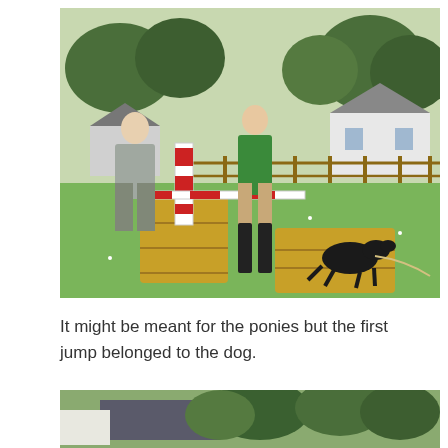[Figure (photo): Two people (an older man in grey shirt and a woman in green top and black boots) arranging a red and white show jump pole on hay bales in a grassy field. A black dog on a lead is nearby sniffing around the hay bales. A white house and wooden fence are visible in the background with trees.]
It might be meant for the ponies but the first jump belonged to the dog.
[Figure (photo): Partial view of trees and rooftops, the bottom portion of another outdoor photograph.]